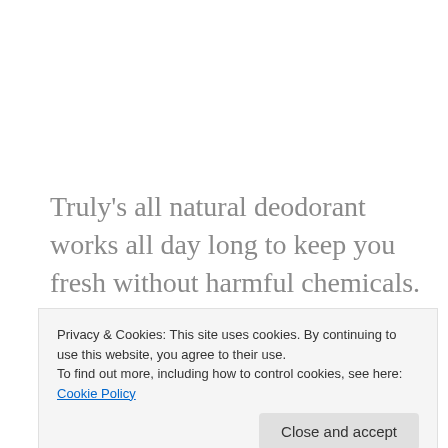Truly's all natural deodorant works all day long to keep you fresh without harmful chemicals. Truly's Natural Deodorant contains only organic coconut oil, powdered sugar, baking soda, and beeswax. It is non-
Privacy & Cookies: This site uses cookies. By continuing to use this website, you agree to their use. To find out more, including how to control cookies, see here: Cookie Policy
price.